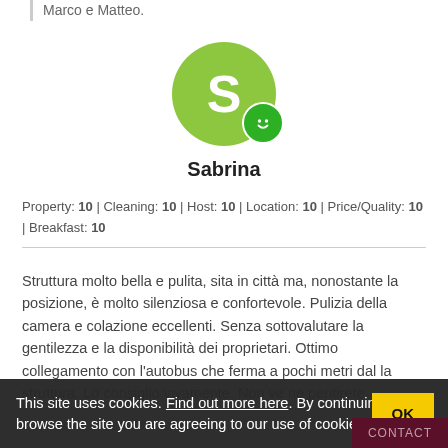Marco e Matteo.
[Figure (illustration): Green circular avatar with letter S and a green smiley face badge in the bottom right]
Sabrina
Property: 10 | Cleaning: 10 | Host: 10 | Location: 10 | Price/Quality: 10 | Breakfast: 10
Struttura molto bella e pulita, sita in città ma, nonostante la posizione, è molto silenziosa e confortevole. Pulizia della camera e colazione eccellenti. Senza sottovalutare la gentilezza e la disponibilità dei proprietari. Ottimo collegamento con l'autobus che ferma a pochi metri dal la struttura. Lo consiglio vivamente. Non ve ne pentirete.
This site uses cookies. Find out more here. By continuing to browse the site you are agreeing to our use of cookies.